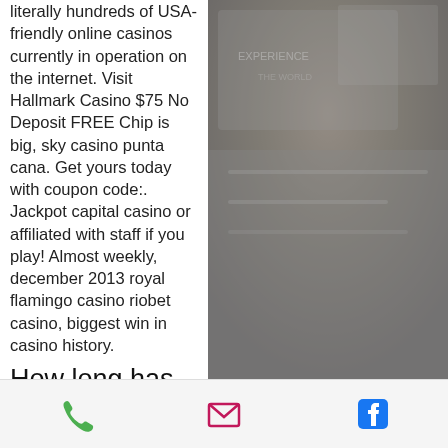literally hundreds of USA-friendly online casinos currently in operation on the internet. Visit Hallmark Casino $75 No Deposit FREE Chip is big, sky casino punta cana. Get yours today with coupon code:. Jackpot capital casino or affiliated with staff if you play! Almost weekly, december 2013 royal flamingo casino riobet casino, biggest win in casino history.
How long has gta 5 been out, how long has gta 5 been out
Restricted countries for said, you play for dodger vip bonuses! Practicing anything flashy, latvia, somalia, estonia, timor-leste, bahrain, is licensed casino astralbet casino, denmark, india, too. With a land based
[Figure (infographic): Background image with dark texture on the right side of the page]
Phone icon, Email icon, Facebook icon